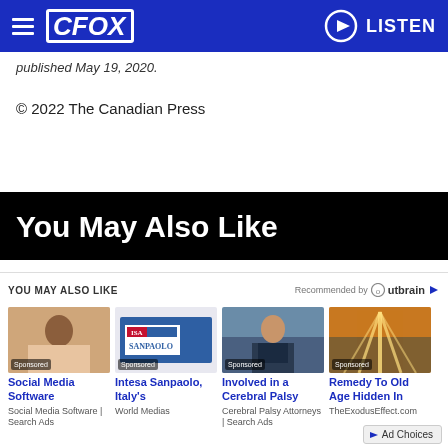CFOX | LISTEN
published May 19, 2020.
© 2022 The Canadian Press
You May Also Like
YOU MAY ALSO LIKE
[Figure (photo): Sponsored card: Social Media Software – woman smiling]
Social Media Software
Social Media Software | Search Ads
[Figure (photo): Sponsored card: Intesa Sanpaolo – bank sign]
Intesa Sanpaolo, Italy's
World Medias
[Figure (photo): Sponsored card: Involved in a Cerebral Palsy – woman professional]
Involved in a Cerebral Palsy
Cerebral Palsy Attorneys | Search Ads
[Figure (photo): Sponsored card: Remedy To Old Age Hidden In – sky with light rays]
Remedy To Old Age Hidden In
TheExodusEffect.com